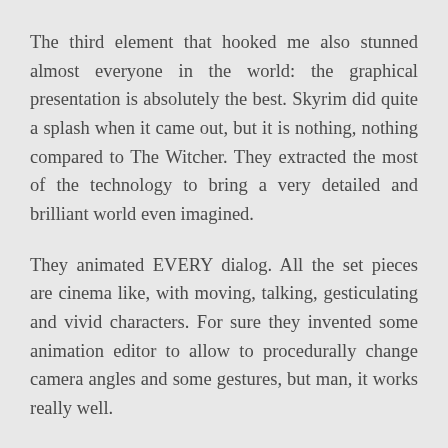The third element that hooked me also stunned almost everyone in the world: the graphical presentation is absolutely the best. Skyrim did quite a splash when it came out, but it is nothing, nothing compared to The Witcher. They extracted the most of the technology to bring a very detailed and brilliant world even imagined.
They animated EVERY dialog. All the set pieces are cinema like, with moving, talking, gesticulating and vivid characters. For sure they invented some animation editor to allow to procedurally change camera angles and some gestures, but man, it works really well.